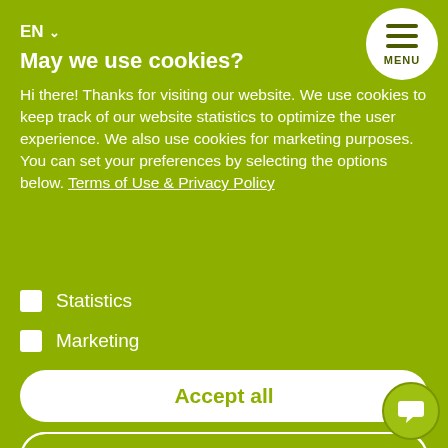EN ∨
May we use cookies?
Hi there! Thanks for visiting our website. We use cookies to keep track of our website statistics to optimize the user experience. We also use cookies for marketing purposes. You can set your preferences by selecting the options below. Terms of Use & Privacy Policy
Statistics
Marketing
Accept all
Accept selected
Decline all